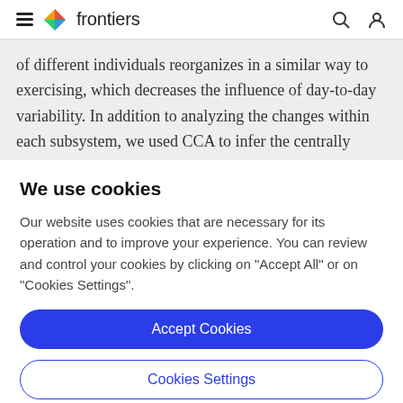frontiers
of different individuals reorganizes in a similar way to exercising, which decreases the influence of day-to-day variability. In addition to analyzing the changes within each subsystem, we used CCA to infer the centrally
We use cookies
Our website uses cookies that are necessary for its operation and to improve your experience. You can review and control your cookies by clicking on "Accept All" or on "Cookies Settings".
Accept Cookies
Cookies Settings